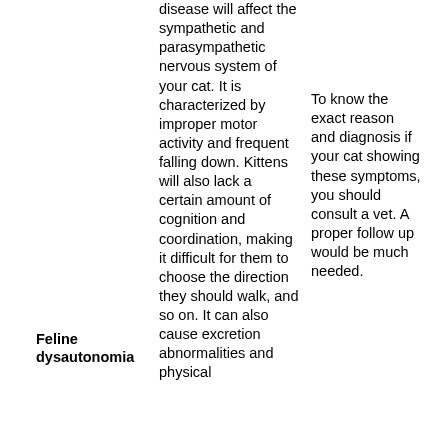disease will affect the sympathetic and parasympathetic nervous system of your cat. It is characterized by improper motor activity and frequent falling down. Kittens will also lack a certain amount of cognition and coordination, making it difficult for them to choose the direction they should walk, and so on. It can also cause excretion abnormalities and physical
Feline dysautonomia
To know the exact reason and diagnosis if your cat showing these symptoms, you should consult a vet. A proper follow up would be much needed.